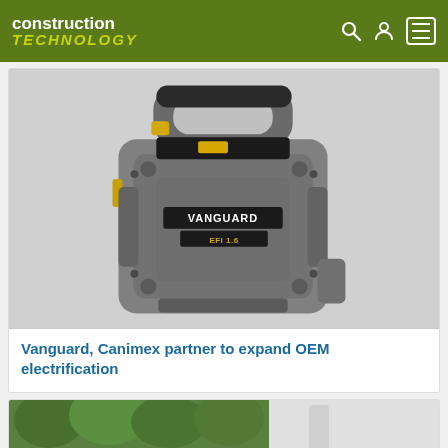construction TECHNOLOGY
[Figure (photo): Vanguard brand portable battery/power unit in grey housing with black handle, yellow accent details, and 'VANGUARD' branding on front panel. Rugged industrial design with carry handle on top.]
Vanguard, Canimex partner to expand OEM electrification
[Figure (photo): Partially visible bottom article image showing trees and a person in white, cut off at bottom of page.]